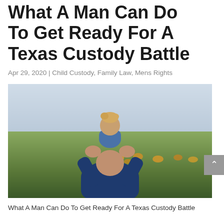What A Man Can Do To Get Ready For A Texas Custody Battle
Apr 29, 2020 | Child Custody, Family Law, Mens Rights
[Figure (photo): A man with a young child sitting on his shoulders, viewed from behind, standing in a field with flowers and an overcast sky.]
What A Man Can Do To Get Ready For A Texas Custody Battle